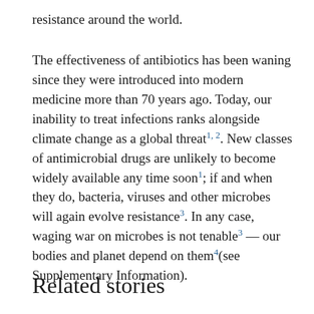resistance around the world.
The effectiveness of antibiotics has been waning since they were introduced into modern medicine more than 70 years ago. Today, our inability to treat infections ranks alongside climate change as a global threat1, 2. New classes of antimicrobial drugs are unlikely to become widely available any time soon1; if and when they do, bacteria, viruses and other microbes will again evolve resistance3. In any case, waging war on microbes is not tenable3 — our bodies and planet depend on them4(see Supplementary Information).
Related stories